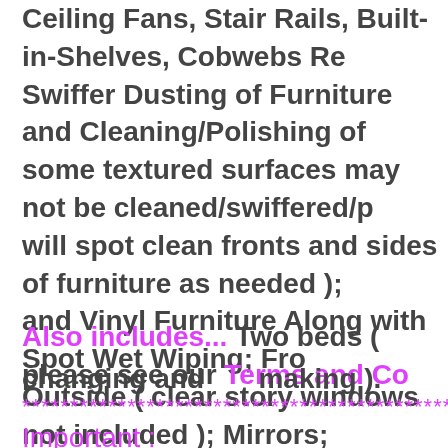Ceiling Fans, Stair Rails, Built-in-Shelves, Cobwebs Removed; Swiffer Dusting of Furniture and Cleaning/Polishing of some textured surfaces may not be cleaned/swiffered/polished; will spot clean fronts and sides of furniture as needed ); and Vinyl Furniture Along with Spot Wet Wiping; From Outside ( clear story windows not included ); Mirrors; Around Door Knobs and Handles; Trash Emptied, Trash Vacuuming; Mopping. Yes, we get under rugs ( area rugs accessible ( under beds on carpeted areas on request on vacuuming such as....ottomans, small chairs, a small ba not move furniture.
Also includes... Two beds ( please see our Terms and Co changing and making ).
***********************************************
Important :